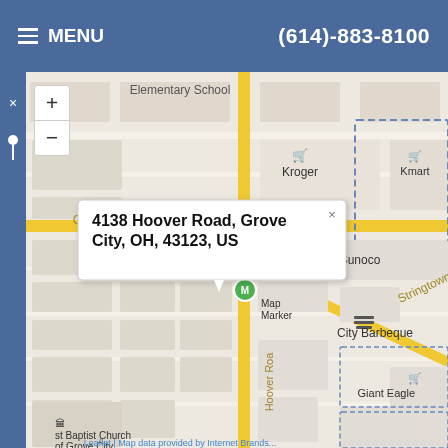MENU | (614)-883-8100
[Figure (map): Street map showing location at 4138 Hoover Road, Grove City, OH, 43123, US with a popup marker. Nearby landmarks include Kroger, Kmart, Sunoco, City Barbeque, Giant Eagle, and First Baptist Church of Grove City. Stringtown Road and Columbus Road are visible.]